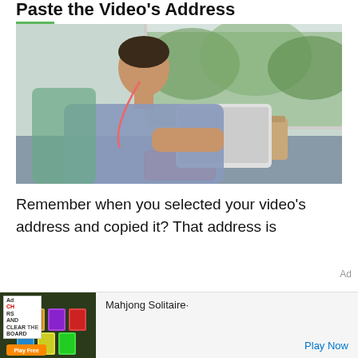Paste the Video's Address
[Figure (photo): Young man sitting on a train, wearing earphones, looking at a tablet computer, with a coffee cup on the table and a phone nearby, trees visible through window]
Remember when you selected your video’s address and copied it? That address is
Ad
[Figure (other): Advertisement banner for Mahjong Solitaire game with Ad badge, colorful mahjong tiles image, and Play Now button]